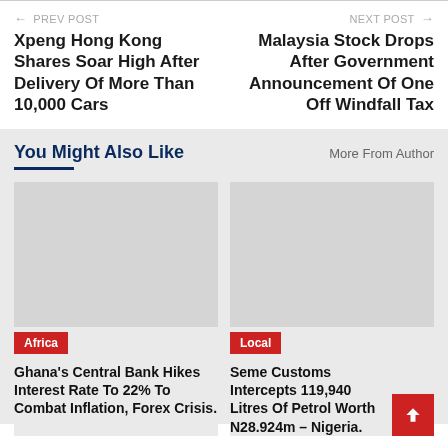← PREV POST
Xpeng Hong Kong Shares Soar High After Delivery Of More Than 10,000 Cars
NEXT POST →
Malaysia Stock Drops After Government Announcement Of One Off Windfall Tax
You Might Also Like
More From Author
[Figure (photo): Placeholder image for Africa/Ghana article]
Africa
Ghana's Central Bank Hikes Interest Rate To 22% To Combat Inflation, Forex Crisis.
[Figure (photo): Placeholder image for Local/Nigeria article]
Local
Seme Customs Intercepts 119,940 Litres Of Petrol Worth N28.924m – Nigeria.